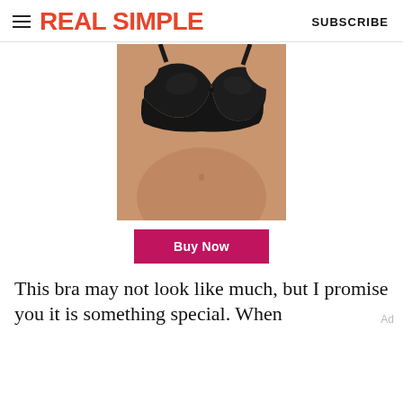REAL SIMPLE   SUBSCRIBE
[Figure (photo): Woman wearing a black bra, cropped to show torso from shoulders to hip]
Buy Now
This bra may not look like much, but I promise you it is something special. When